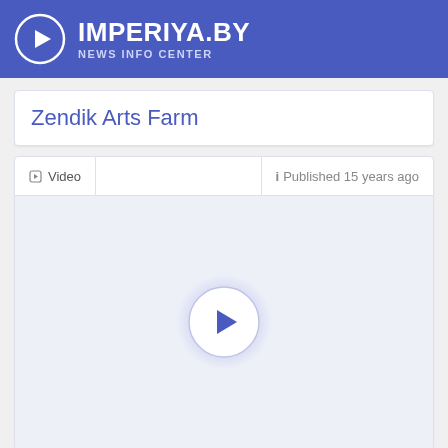IMPERIYA.BY NEWS INFO CENTER
Zendik Arts Farm
▷ Video   ℹ Published 15 years ago
[Figure (other): Video player placeholder with a circular play button (blue/white) centered on a light blue-grey background]